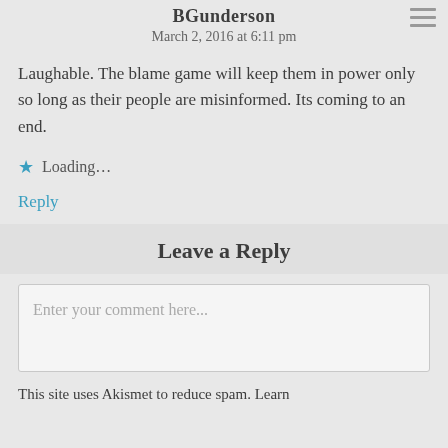BGunderson
March 2, 2016 at 6:11 pm
Laughable. The blame game will keep them in power only so long as their people are misinformed. Its coming to an end.
⭐ Loading...
Reply
Leave a Reply
Enter your comment here...
This site uses Akismet to reduce spam. Learn